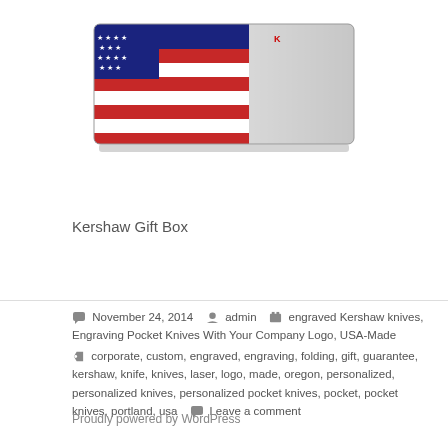[Figure (photo): A Kershaw gift box with American flag design — red, white, and blue stripes and stars printed on a metallic rectangular tin box.]
Kershaw Gift Box
November 24, 2014   admin   engraved Kershaw knives, Engraving Pocket Knives With Your Company Logo, USA-Made
corporate, custom, engraved, engraving, folding, gift, guarantee, kershaw, knife, knives, laser, logo, made, oregon, personalized, personalized knives, personalized pocket knives, pocket, pocket knives, portland, usa   Leave a comment
Proudly powered by WordPress